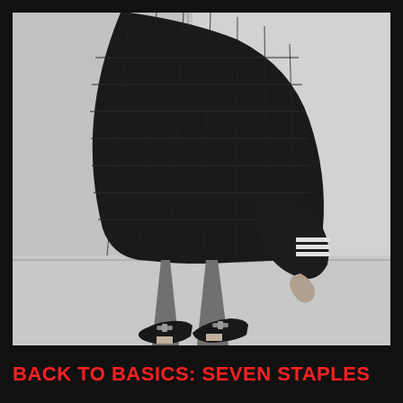[Figure (photo): Black and white fashion photograph showing the lower body of a person wearing a large oversized black quilted coat, cropped grey trousers, and black velvet loafers with chain detail. The person stands against a white wall with a concrete floor.]
BACK TO BASICS: SEVEN STAPLES